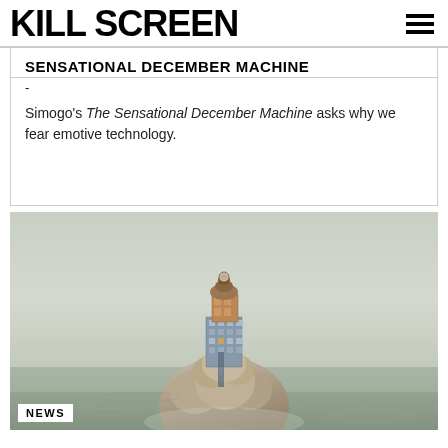KILL SCREEN
SENSATIONAL DECEMBER MACHINE
–
Simogo's The Sensational December Machine asks why we fear emotive technology.
[Figure (photo): A surreal illustration of a tall rocky sea stack with a multi-story building perched on top, surrounded by misty ocean waters. A news badge reading 'NEWS' appears in the bottom-left corner.]